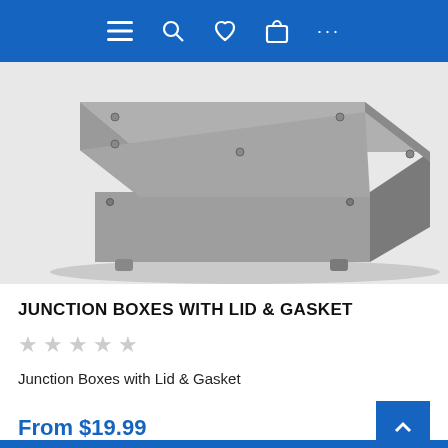Navigation bar with menu, search, wishlist, cart, and more icons
[Figure (photo): A gray rectangular plastic junction box with lid and screws, viewed from a three-quarter angle showing the top and two sides.]
JUNCTION BOXES WITH LID & GASKET
★★★★★ (empty stars rating)
Junction Boxes with Lid & Gasket
From $19.99